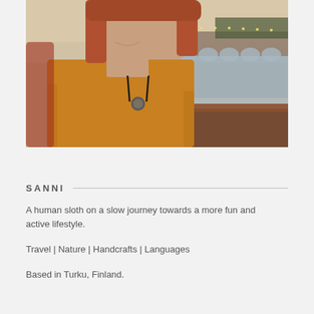[Figure (photo): A woman with red/auburn hair wearing a mustard yellow sweater and a dark pendant necklace, smiling. Background shows a river with an arched stone bridge (likely Charles Bridge in Prague) and city lights in the evening.]
SANNI
A human sloth on a slow journey towards a more fun and active lifestyle.
Travel | Nature | Handcrafts | Languages
Based in Turku, Finland.